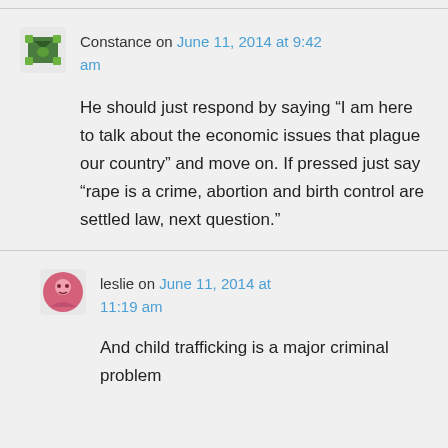Constance on June 11, 2014 at 9:42 am
He should just respond by saying “I am here to talk about the economic issues that plague our country” and move on. If pressed just say “rape is a crime, abortion and birth control are settled law, next question.”
leslie on June 11, 2014 at 11:19 am
And child trafficking is a major criminal problem